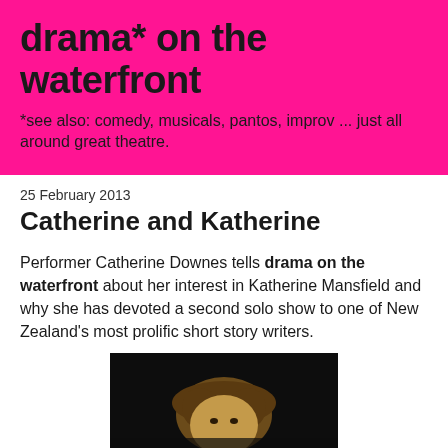drama* on the waterfront
*see also: comedy, musicals, pantos, improv ... just all around great theatre.
25 February 2013
Catherine and Katherine
Performer Catherine Downes tells drama on the waterfront about her interest in Katherine Mansfield and why she has devoted a second solo show to one of New Zealand's most prolific short story writers.
[Figure (photo): Photograph of a performer (Catherine Downes) against a dark background, partially visible from the waist up, with curly/wavy hair.]